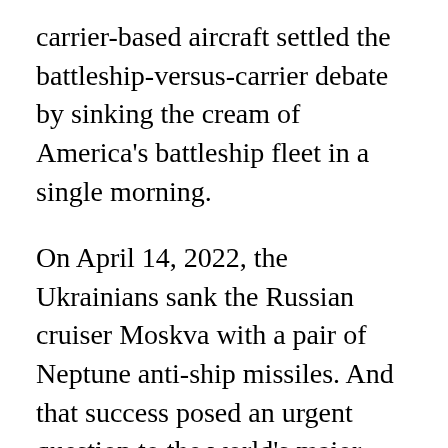carrier-based aircraft settled the battleship-versus-carrier debate by sinking the cream of America's battleship fleet in a single morning.
On April 14, 2022, the Ukrainians sank the Russian cruiser Moskva with a pair of Neptune anti-ship missiles. And that success posed an urgent question to the world's major militaries: Has another age of warfare just begun? After 20 years spent fighting the post-9/11 wars, the United States military's attention is again focused on a peer-level